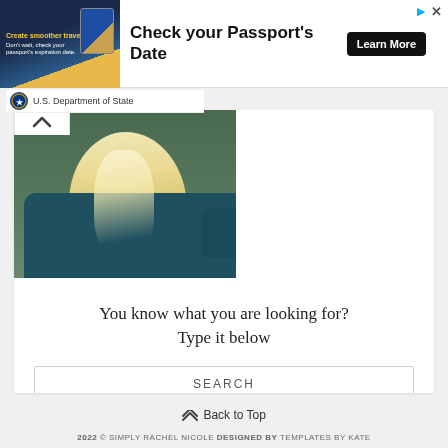[Figure (screenshot): Advertisement banner for U.S. Department of State passport check with image of passport and text 'Create smoother travel', 'Check your Passport's Date', and 'Learn More' button]
U.S. Department of State
[Figure (photo): Photo of a woman with long blonde hair wearing a teal/dark green sweater, shot outdoors with greenery in background, cropped at shoulders]
You know what you are looking for? Type it below
SEARCH
⌃ Back to Top
2022 © SIMPLY RACHEL NICOLE DESIGNED BY TEMPLATES BY KATE